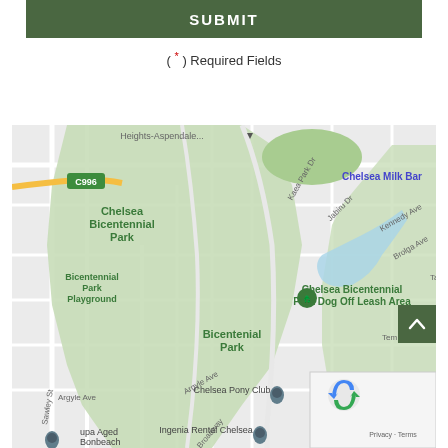SUBMIT
( * ) Required Fields
[Figure (map): Google Maps showing Chelsea Bicentennial Park area including Chelsea Bicentennial Park Dog Off Leash Area, Bicentennial Park Playground, Chelsea Pony Club, Ingenia Rental Chelsea, and surrounding streets including Argyle Ave, Broadway, Kennedy Ave, Brolga Ave. Blue water features visible. Labels include Heights-Aspendale, Chelsea Milk Bar, Harbour To, upa Aged Bonbeach. Road C996 shown.]